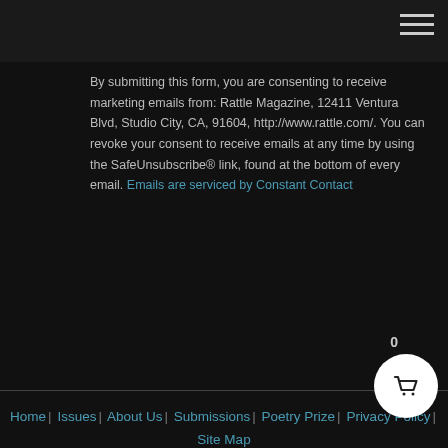By submitting this form, you are consenting to receive marketing emails from: Rattle Magazine, 12411 Ventura Blvd, Studio City, CA, 91604, http://www.rattle.com/. You can revoke your consent to receive emails at any time by using the SafeUnsubscribe® link, found at the bottom of every email. Emails are serviced by Constant Contact
Home | Issues | About Us | Submissions | Poetry Prize | Privacy Policy | Site Map
Notice: © 2022 Rattle Foundation. All individual works copyrighted by their authors; all rights reserved. All poems and essays are works of the imagination. While the perceptions and insights are based on the authors' experiences, no reference to any real person is intended or should be inferred. The views expressed on this web may not necessarily reflect the views of Rattle or of the Rattle Foundation. Rattle®, the R® logo design, and Poets Respond® are